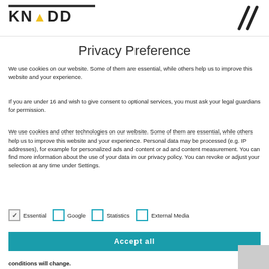[Figure (logo): KNADD logo with yellow triangle and diagonal slash marks]
Privacy Preference
We use cookies on our website. Some of them are essential, while others help us to improve this website and your experience.
If you are under 16 and wish to give consent to optional services, you must ask your legal guardians for permission.
We use cookies and other technologies on our website. Some of them are essential, while others help us to improve this website and your experience. Personal data may be processed (e.g. IP addresses), for example for personalized ads and content or ad and content measurement. You can find more information about the use of your data in our privacy policy. You can revoke or adjust your selection at any time under Settings.
✓ Essential
☐ Google
☐ Statistics
☐ External Media
Accept all
conditions will change.